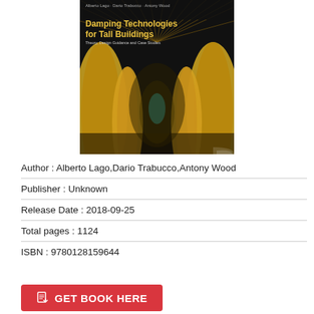[Figure (illustration): Book cover of 'Damping Technologies for Tall Buildings: Theory, Design Guidance and Case Studies' by Alberto Lago, Dario Trabucco, Antony Wood. Dark background with tall golden architectural columns in an interior atrium, with the book title in bold gold/yellow text at the top.]
Author : Alberto Lago,Dario Trabucco,Antony Wood
Publisher : Unknown
Release Date : 2018-09-25
Total pages : 1124
ISBN : 9780128159644
GET BOOK HERE